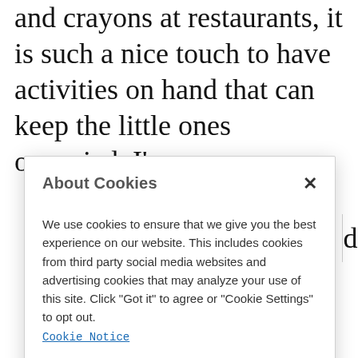and crayons at restaurants, it is such a nice touch to have activities on hand that can keep the little ones occupied. I've
About Cookies
We use cookies to ensure that we give you the best experience on our website. This includes cookies from third party social media websites and advertising cookies that may analyze your use of this site. Click "Got it" to agree or "Cookie Settings" to opt out.
Cookie Notice
Got It
Cookies Settings